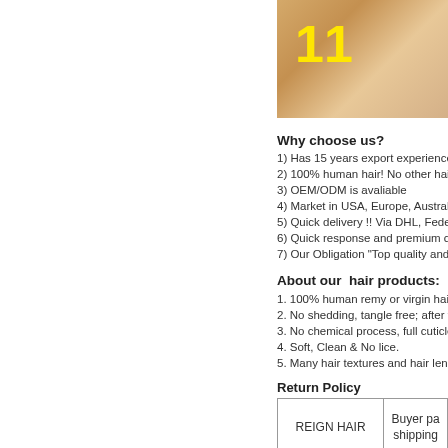[Figure (photo): Close-up photo of hair with a yellow number 11 overlaid in bold text]
Why choose us?
1) Has 15 years export experience
2) 100% human hair! No other hai
3) OEM/ODM is avaliable
4) Market in USA, Europe, Australi
5) Quick delivery !! Via DHL, Fede
6) Quick response and premium cu
7) Our Obligation "Top quality and
About our  hair products:
1. 100% human remy or virgin hair
2. No shedding, tangle free; after w
3. No chemical process, full cuticle
4. Soft, Clean & No lice.
5. Many hair textures and hair leng
Return Policy
|  |  |
| --- | --- |
| REIGN HAIR | Buyer pa shipping |
| Dislike/Unsuitble | YES |